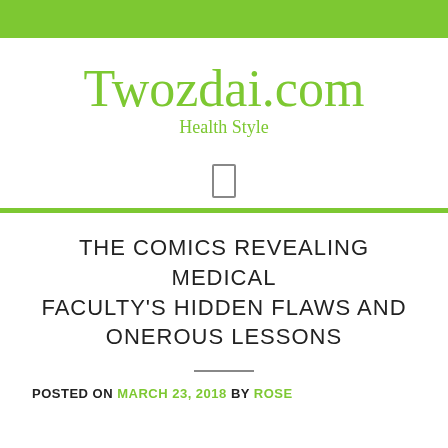Twozdai.com
Health Style
[Figure (other): Search or menu icon (square bracket symbol)]
THE COMICS REVEALING MEDICAL FACULTY'S HIDDEN FLAWS AND ONEROUS LESSONS
POSTED ON MARCH 23, 2018 BY ROSE